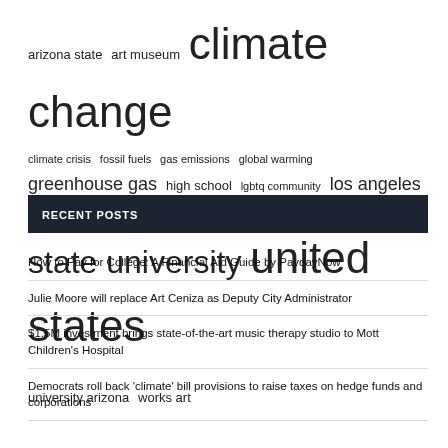[Figure (infographic): Tag cloud with terms of varying font sizes: arizona state, art museum, climate change (largest), climate crisis, fossil fuels, gas emissions, global warming, greenhouse gas, high school, lgbtq community, los angeles, state university, united states (very large), university arizona, works art]
RECENT POSTS
How to Pay for College: A Financial Aid Guide by PaydayNow
Julie Moore will replace Art Ceniza as Deputy City Administrator
$1.5M investment brings state-of-the-art music therapy studio to Mott Children's Hospital
Democrats roll back 'climate' bill provisions to raise taxes on hedge funds and corporations